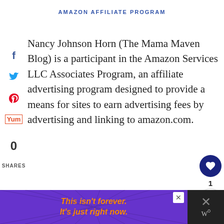AMAZON AFFILIATE PROGRAM
Nancy Johnson Horn (The Mama Maven Blog) is a participant in the Amazon Services LLC Associates Program, an affiliate advertising program designed to provide a means for sites to earn advertising fees by advertising and linking to amazon.com.
0
SHARES
FAVORITE INSTANT POT RECIPES
[Figure (screenshot): Bottom ad banner: purple background with orange italic text 'This isn't forever. It's just right now.' with close button and dark right panel with X and W symbols.]